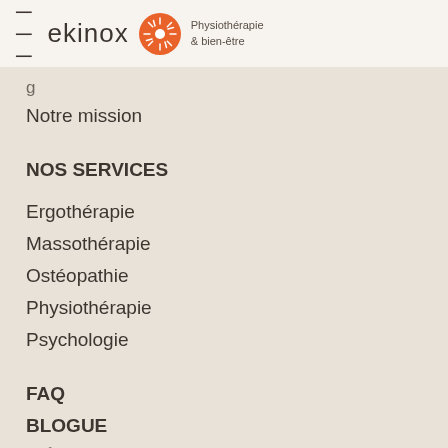ekinox — Physiothérapie & bien-être
Notre mission
NOS SERVICES
Ergothérapie
Massothérapie
Ostéopathie
Physiothérapie
Psychologie
FAQ
BLOGUE
L'ÉQUIPE
CONTACTEZ-NOUS